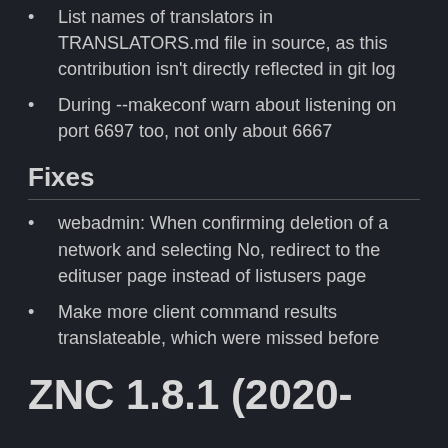List names of translators in TRANSLATORS.md file in source, as this contribution isn't directly reflected in git log
During --makeconf warn about listening on port 6697 too, not only about 6667
Fixes
webadmin: When confirming deletion of a network and selecting No, redirect to the edituser page instead of listusers page
Make more client command results translateable, which were missed before
ZNC 1.8.1 (2020-